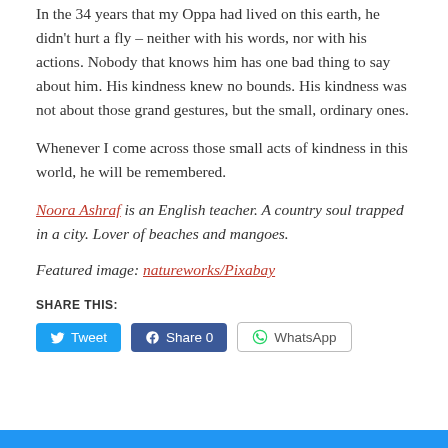In the 34 years that my Oppa had lived on this earth, he didn't hurt a fly – neither with his words, nor with his actions. Nobody that knows him has one bad thing to say about him. His kindness knew no bounds. His kindness was not about those grand gestures, but the small, ordinary ones.
Whenever I come across those small acts of kindness in this world, he will be remembered.
Noora Ashraf is an English teacher. A country soul trapped in a city. Lover of beaches and mangoes.
Featured image: natureworks/Pixabay
SHARE THIS:
Tweet  Share 0  WhatsApp